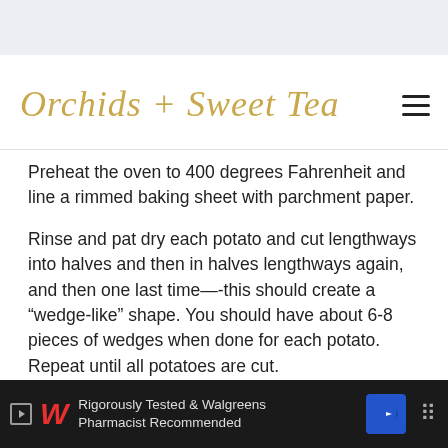[Figure (logo): Orchids + Sweet Tea cursive script logo in gold/tan color, with hamburger menu icon on the right]
Preheat the oven to 400 degrees Fahrenheit and line a rimmed baking sheet with parchment paper.
Rinse and pat dry each potato and cut lengthways into halves and then in halves lengthways again, and then one last time—-this should create a “wedge-like” shape. You should have about 6-8 pieces of wedges when done for each potato. Repeat until all potatoes are cut.
In a bowl, add together the jerk seasonings and
[Figure (advertisement): Dark advertisement bar at bottom: Walgreens W logo, 'Rigorously Tested & Walgreens Pharmacist Recommended', blue directional sign icon, dots menu icon]